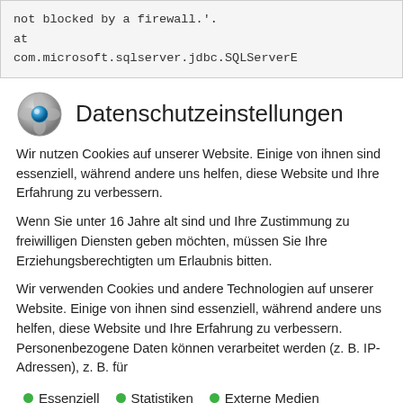not blocked by a firewall.'.
at
com.microsoft.sqlserver.jdbc.SQLServerE
Datenschutzeinstellungen
Wir nutzen Cookies auf unserer Website. Einige von ihnen sind essenziell, während andere uns helfen, diese Website und Ihre Erfahrung zu verbessern.
Wenn Sie unter 16 Jahre alt sind und Ihre Zustimmung zu freiwilligen Diensten geben möchten, müssen Sie Ihre Erziehungsberechtigten um Erlaubnis bitten.
Wir verwenden Cookies und andere Technologien auf unserer Website. Einige von ihnen sind essenziell, während andere uns helfen, diese Website und Ihre Erfahrung zu verbessern. Personenbezogene Daten können verarbeitet werden (z. B. IP-Adressen), z. B. für
Essenziell
Statistiken
Externe Medien
Ich akzeptiere